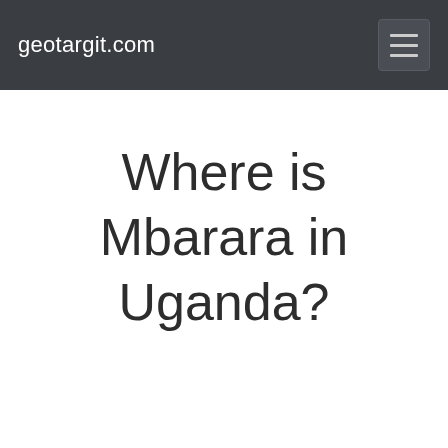geotargit.com
Where is Mbarara in Uganda?